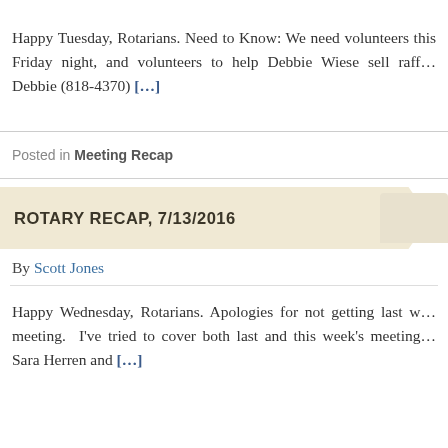Happy Tuesday, Rotarians. Need to Know: We need volunteers this Friday night, and volunteers to help Debbie Wiese sell raff… Debbie (818-4370) […]
Posted in Meeting Recap
ROTARY RECAP, 7/13/2016
By Scott Jones
Happy Wednesday, Rotarians. Apologies for not getting last w… meeting. I've tried to cover both last and this week's meeting… Sara Herren and […]